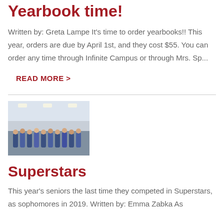Yearbook time!
Written by: Greta Lampe It's time to order yearbooks!! This year, orders are due by April 1st, and they cost $55. You can order any time through Infinite Campus or through Mrs. Sp...
READ MORE >
[Figure (photo): Group photo of students in blue uniforms standing in what appears to be a gymnasium or hallway]
Superstars
This year's seniors the last time they competed in Superstars, as sophomores in 2019. Written by: Emma Zabka As